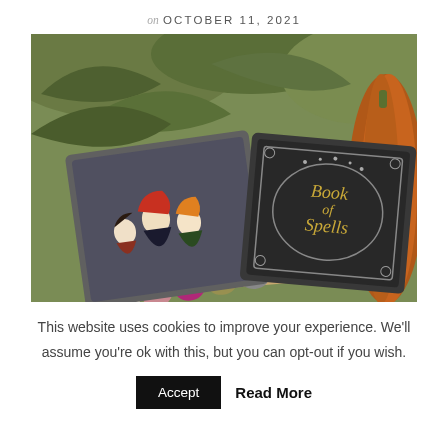on OCTOBER 11, 2021
[Figure (photo): Photo of a Hocus Pocus-themed makeup eyeshadow palette open beside a 'Book of Spells' compact, set on green leaves outdoors with a pumpkin in background.]
This website uses cookies to improve your experience. We'll assume you're ok with this, but you can opt-out if you wish.
Accept   Read More